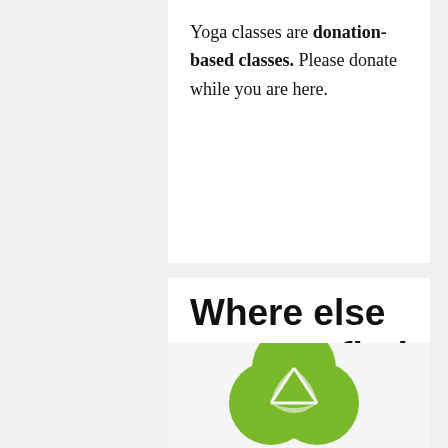Yoga classes are donation-based classes. Please donate while you are here.
Where else can you find me?
Koren also teaches for YogaWorks and the Iyengar Yoga Institute of Los Angeles (IYILA). Registration for these classes is through YogaWorks and IYILA respectively.
[Figure (logo): Green circular overlapping leaves/petals logo mark]